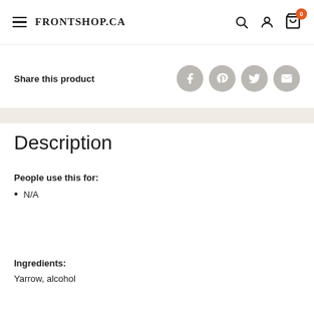FRONTSHOP.CA
Share this product
Description
People use this for:
N/A
Ingredients:
Yarrow, alcohol